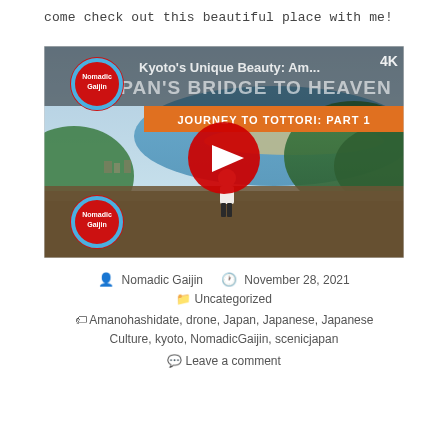come check out this beautiful place with me!
[Figure (screenshot): YouTube video thumbnail for 'Kyoto's Unique Beauty: Am...' showing Japan's Bridge to Heaven, Journey to Tottori Part 1, with Nomadic Gaijin branding, a person standing overlooking a coastal landscape, and a red YouTube play button.]
Nomadic Gaijin   November 28, 2021
Uncategorized
Amanohashidate, drone, Japan, Japanese, Japanese Culture, kyoto, NomadicGaijin, scenicjapan
Leave a comment